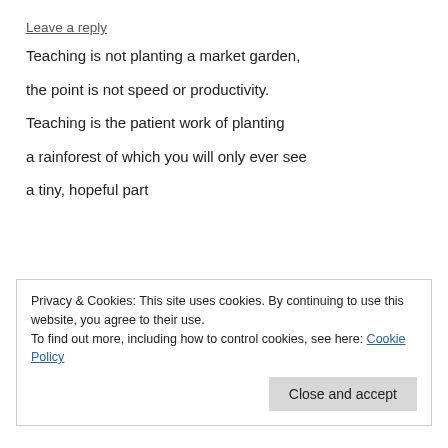Leave a reply
Teaching is not planting a market garden,
the point is not speed or productivity.
Teaching is the patient work of planting
a rainforest of which you will only ever see
a tiny, hopeful part
Privacy & Cookies: This site uses cookies. By continuing to use this website, you agree to their use.
To find out more, including how to control cookies, see here: Cookie Policy
Close and accept